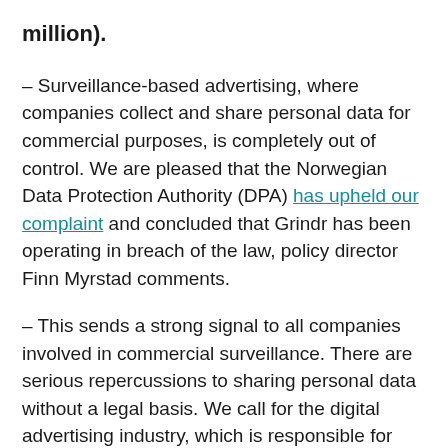million).
– Surveillance-based advertising, where companies collect and share personal data for commercial purposes, is completely out of control. We are pleased that the Norwegian Data Protection Authority (DPA) has upheld our complaint and concluded that Grindr has been operating in breach of the law, policy director Finn Myrstad comments.
– This sends a strong signal to all companies involved in commercial surveillance. There are serious repercussions to sharing personal data without a legal basis. We call for the digital advertising industry, which is responsible for tracking and profiling consumers on a massive scale, to make fundamental changes to respect consumers' rights.